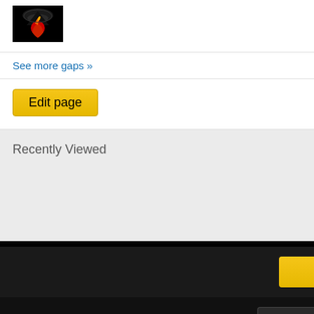[Figure (photo): Small thumbnail image with dark background showing a figure with hat and flame/fire imagery]
See more gaps »
Edit page
Recently Viewed
[Figure (screenshot): Partial yellow button visible in dark footer area]
Sig